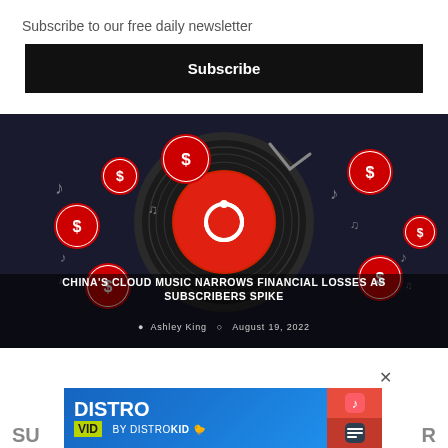Subscribe to our free daily newsletter
Subscribe
[Figure (illustration): Dark background illustration showing a vinyl record player with a red circular music streaming logo (NetEase Cloud Music icon) in the center, surrounded by floating dollar signs on red coins and musical notes. Article title overlay: CHINA'S CLOUD MUSIC NARROWS FINANCIAL LOSSES AS SUBSCRIBERS SPIKE. Byline: Ashley King, August 19, 2022.]
CHINA'S CLOUD MUSIC NARROWS FINANCIAL LOSSES AS SUBSCRIBERS SPIKE
Ashley King  August 19, 2022
[Figure (screenshot): Advertisement banner for DistroVid by DistroKid, with blue gradient background, yellow-green VID badge, duck emoji, and music app icons on the right side.]